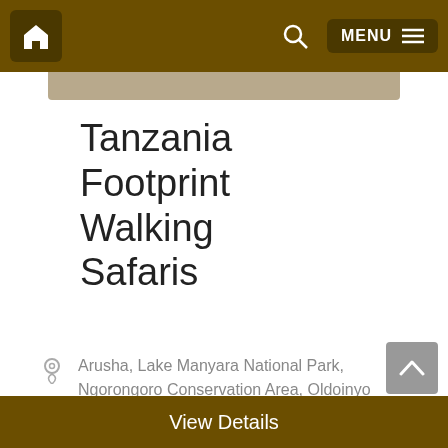Home  Search  MENU
Tanzania Footprint Walking Safaris
Arusha, Lake Manyara National Park, Ngorongoro Conservation Area, Oldoinyo Lengai
7 Days- 6 Nights
View Details